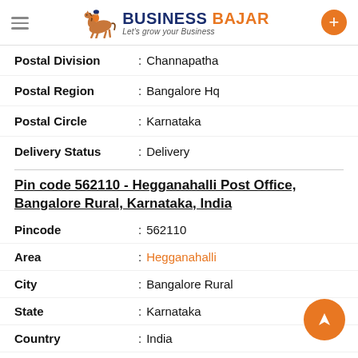BUSINESS BAJAR — Let's grow your Business
Postal Division : Channapatha
Postal Region : Bangalore Hq
Postal Circle : Karnataka
Delivery Status : Delivery
Pin code 562110 - Hegganahalli Post Office, Bangalore Rural, Karnataka, India
Pincode : 562110
Area : Hegganahalli
City : Bangalore Rural
State : Karnataka
Country : India
District : Bangalore Rural
Postal Taluka : Davenhalli